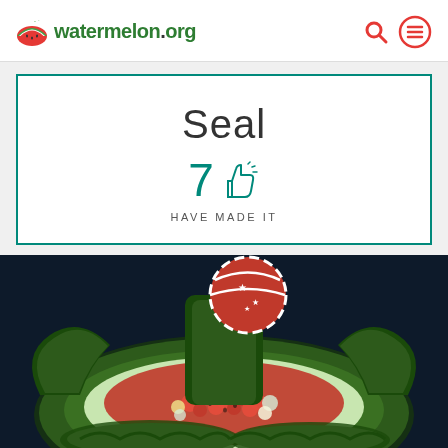watermelon.org
Seal
7 HAVE MADE IT
[Figure (photo): A carved watermelon sculpture shaped like a seal, filled with watermelon balls and other fruit, with a red and white striped ball balanced on top, photographed against a dark background.]